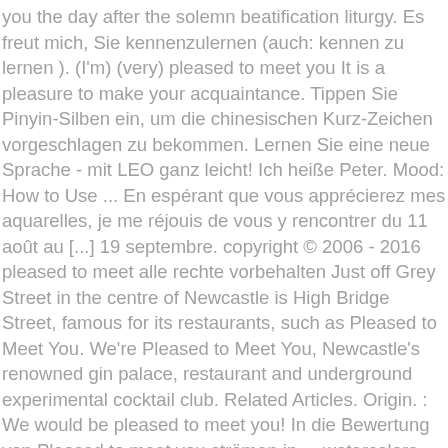you the day after the solemn beatification liturgy. Es freut mich, Sie kennenzulernen (auch: kennen zu lernen ). (I'm) (very) pleased to meet you It is a pleasure to make your acquaintance. Tippen Sie Pinyin-Silben ein, um die chinesischen Kurz-Zeichen vorgeschlagen zu bekommen. Lernen Sie eine neue Sprache - mit LEO ganz leicht! Ich heiße Peter. Mood: How to Use ... En espérant que vous apprécierez mes aquarelles, je me réjouis de vous y rencontrer du 11 août au [...] 19 septembre. copyright © 2006 - 2016 pleased to meet alle rechte vorbehalten Just off Grey Street in the centre of Newcastle is High Bridge Street, famous for its restaurants, such as Pleased to Meet You. We're Pleased to Meet You, Newcastle's renowned gin palace, restaurant and underground experimental cocktail club. Related Articles. Origin. : We would be pleased to meet you! In die Bewertung von Pleased to meet you strömen in ... watercolors-gallery.eu. Especially in Britain) Delighted to make your acquaintance. Pleased To Meet You Perth; Pleased To Meet You, Northbridge; Get Menu, Reviews, Contact, Location, Phone Number, Maps and more for Pleased To Meet You Restaurant on Zomato Übersetzung von Englisch nach Deutsch ist aktiviert. Teilweise Übereinstimmung: I am pleased to see you. We're Pleased to Meet You, Newcastle's renowned gin palace, restaurant and underground